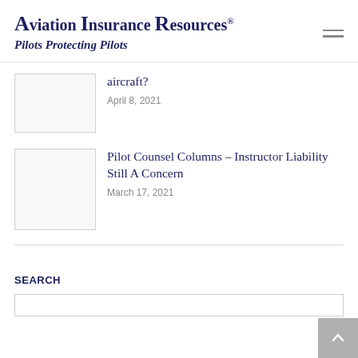Aviation Insurance Resources® Pilots Protecting Pilots
aircraft?
April 8, 2021
Pilot Counsel Columns – Instructor Liability Still A Concern
March 17, 2021
SEARCH